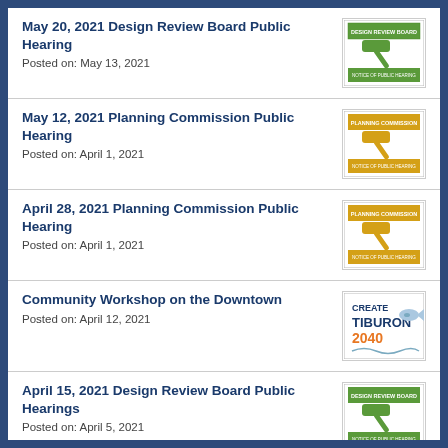May 20, 2021 Design Review Board Public Hearing
Posted on: May 13, 2021
May 12, 2021 Planning Commission Public Hearing
Posted on: April 1, 2021
April 28, 2021 Planning Commission Public Hearing
Posted on: April 1, 2021
Community Workshop on the Downtown
Posted on: April 12, 2021
April 15, 2021 Design Review Board Public Hearings
Posted on: April 5, 2021